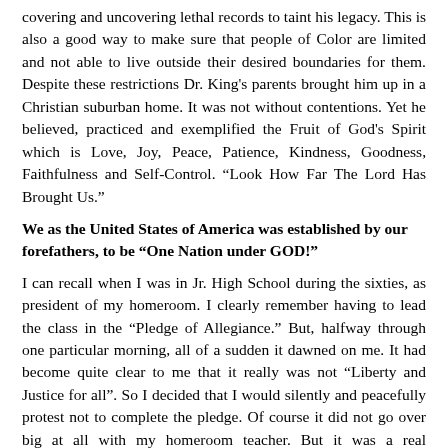covering and uncovering lethal records to taint his legacy. This is also a good way to make sure that people of Color are limited and not able to live outside their desired boundaries for them. Despite these restrictions Dr. King's parents brought him up in a Christian suburban home. It was not without contentions. Yet he believed, practiced and exemplified the Fruit of God's Spirit which is Love, Joy, Peace, Patience, Kindness, Goodness, Faithfulness and Self-Control. “Look How Far The Lord Has Brought Us.”
We as the United States of America was established by our forefathers, to be “One Nation under GOD!”
I can recall when I was in Jr. High School during the sixties, as president of my homeroom. I clearly remember having to lead the class in the “Pledge of Allegiance.” But, halfway through one particular morning, all of a sudden it dawned on me. It had become quite clear to me that it really was not “Liberty and Justice for all”. So I decided that I would silently and peacefully protest not to complete the pledge. Of course it did not go over big at all with my homeroom teacher. But it was a real awakening in my soul…
One cannot help but to appreciate the far reaching magnitude of what has taken place here on November 4th 2008! It will be forever recorded in America’s History. Despite the differences American to a degree has resumed its intended purpose and the opportunity to provide “Liberty and Justice for All” has been